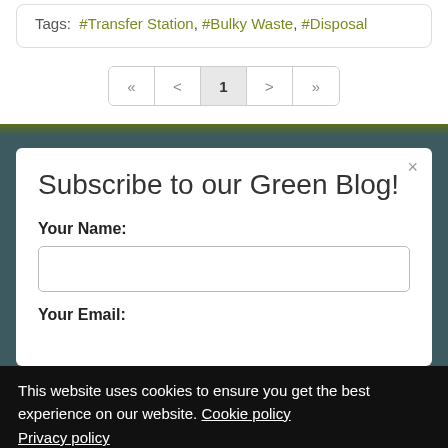Tags: #Transfer Station, #Bulky Waste, #Disposal
« < 1 > »
Subscribe to our Green Blog!
Your Name:
Your Email:
This website uses cookies to ensure you get the best experience on our website. Cookie policy
Privacy policy
Got it!